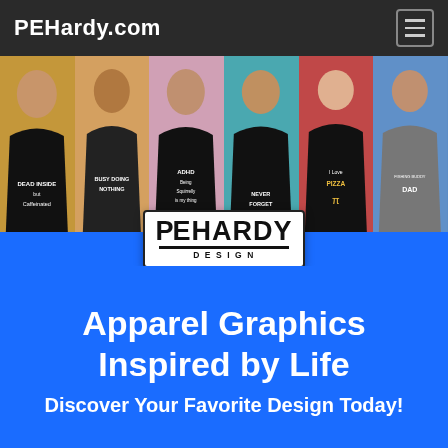PEHardy.com
[Figure (photo): Collage of six people wearing graphic t-shirts with various designs including 'Dead Inside but Caffeinated', 'Busy Doing Nothing', 'ADHD Being Squirrelly is my thing', 'Never Forget', 'I Love Pizza Pi', and 'Fishing Buddy Dad'. Below the photo strip is a PE Hardy Design logo badge on a blue background.]
Apparel Graphics Inspired by Life
Discover Your Favorite Design Today!